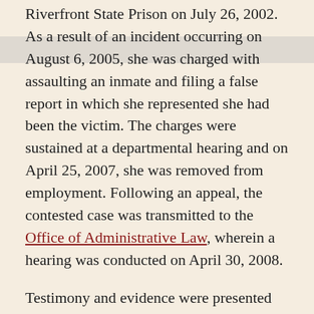Riverfront State Prison on July 26, 2002. As a result of an incident occurring on August 6, 2005, she was charged with assaulting an inmate and filing a false report in which she represented she had been the victim. The charges were sustained at a departmental hearing and on April 25, 2007, she was removed from employment. Following an appeal, the contested case was transmitted to the Office of Administrative Law, wherein a hearing was conducted on April 30, 2008.
Testimony and evidence were presented by Captain Tommy Stahl regarding the internal affairs investigation, which concluded that Reid had assaulted an inmate and misrepresented that she was the victim; Officers Cherril Davis and Dyshella Kee who were eyewitnesses to the incident and